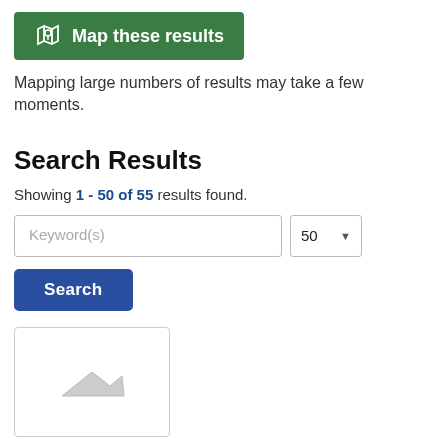[Figure (other): Green button with map icon and text 'Map these results']
Mapping large numbers of results may take a few moments.
Search Results
Showing 1 - 50 of 55 results found.
[Figure (screenshot): Search interface with Keyword(s) text input, dropdown showing 50, and Search button]
[Figure (other): Image placeholder with a small map/shape icon]